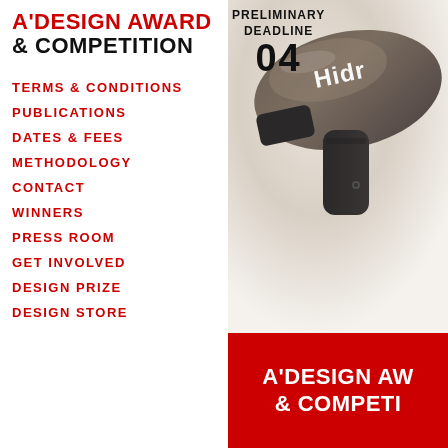A'DESIGN AWARD & COMPETITION
PRELIMINARY DEADLINE 04
TERMS & CONDITIONS
PUBLICATIONS
DATES & FEES
METHODOLOGY
CONTACT
WINNERS
PRESS ROOM
GET INVOLVED
DESIGN PRIZE
DESIGN STORE
[Figure (photo): Close-up product photo of a dark grey/bronze hair dryer with 'Hidro' branding visible on white-to-grey gradient background]
A'DESIGN AWARD & COMPETITION